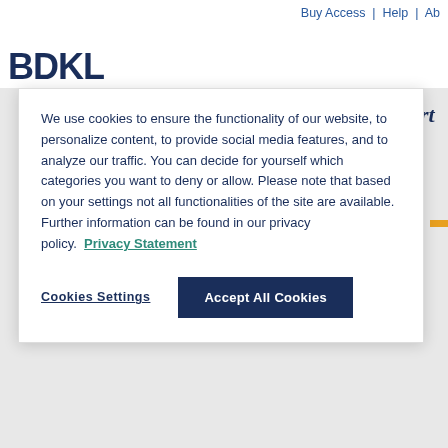Buy Access | Help | Ab
We use cookies to ensure the functionality of our website, to personalize content, to provide social media features, and to analyze our traffic. You can decide for yourself which categories you want to deny or allow. Please note that based on your settings not all functionalities of the site are available. Further information can be found in our privacy policy. Privacy Statement
Cookies Settings
Accept All Cookies
Search
Your search for 'dc_creator:( "Ste
dc_contributor:( "Stenger, Jan (H
search
Sort Results by Relevance | Newe